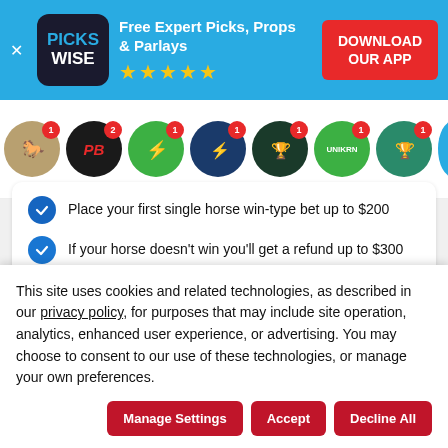[Figure (screenshot): Pickswise app advertisement banner with logo, 'Free Expert Picks, Props & Parlays' text, 5 star rating, and 'DOWNLOAD OUR APP' button on blue background]
[Figure (infographic): Row of sports betting site icons/logos as circular avatars with notification badges]
Place your first single horse win-type bet up to $200
If your horse doesn't win you'll get a refund up to $300
21+. T&C's apply. Please gamble responsibly.
[Figure (logo): TwinSpires dark navy banner with logo on left and $200 amount on right]
This site uses cookies and related technologies, as described in our privacy policy, for purposes that may include site operation, analytics, enhanced user experience, or advertising. You may choose to consent to our use of these technologies, or manage your own preferences.
Manage Settings | Accept | Decline All